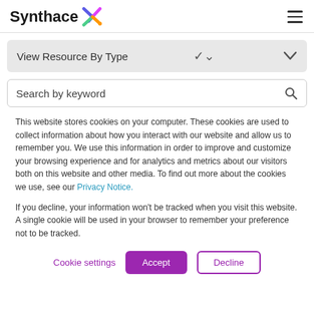Synthace [logo]
View Resource By Type
Search by keyword
This website stores cookies on your computer. These cookies are used to collect information about how you interact with our website and allow us to remember you. We use this information in order to improve and customize your browsing experience and for analytics and metrics about our visitors both on this website and other media. To find out more about the cookies we use, see our Privacy Notice.
If you decline, your information won't be tracked when you visit this website. A single cookie will be used in your browser to remember your preference not to be tracked.
Cookie settings  Accept  Decline